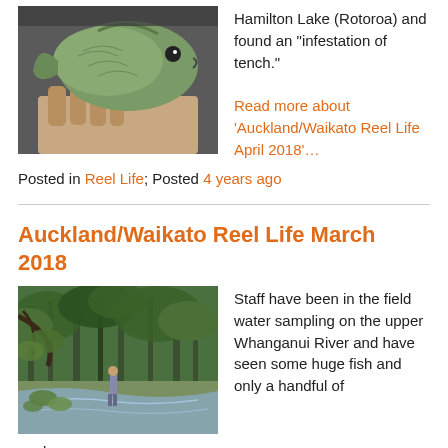[Figure (photo): A hand holding a tench fish close to camera, greenish fish with scales visible]
Hamilton Lake (Rotoroa) and found an “infestation of tench.”

Read more about ‘Auckland/Waikato Reel Life April 2018’…
Posted in Reel Life; Posted 4 years ago
Auckland/Waikato Reel Life March 2018
[Figure (photo): A person standing in a lush green forest river valley, upper Whanganui River area]
Staff have been in the field water sampling on the upper Whanganui River and have seen some huge fish and only a handful of anglers.